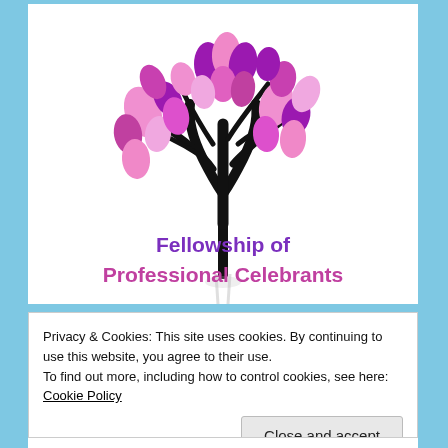[Figure (logo): Fellowship of Professional Celebrants logo: a stylized tree with pink and purple teardrop-shaped leaves on black branches, with a reflection shadow beneath the trunk, and the organization name below.]
Privacy & Cookies: This site uses cookies. By continuing to use this website, you agree to their use.
To find out more, including how to control cookies, see here: Cookie Policy
Close and accept